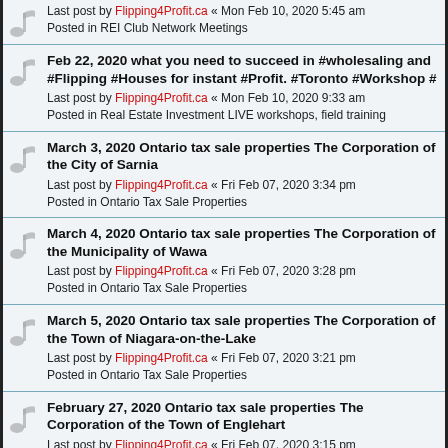Last post by Flipping4Profit.ca « Mon Feb 10, 2020 5:45 am
Posted in REI Club Network Meetings
Feb 22, 2020 what you need to succeed in #wholesaling and #Flipping #Houses for instant #Profit. #Toronto #Workshop #
Last post by Flipping4Profit.ca « Mon Feb 10, 2020 9:33 am
Posted in Real Estate Investment LIVE workshops, field training
March 3, 2020 Ontario tax sale properties The Corporation of the City of Sarnia
Last post by Flipping4Profit.ca « Fri Feb 07, 2020 3:34 pm
Posted in Ontario Tax Sale Properties
March 4, 2020 Ontario tax sale properties The Corporation of the Municipality of Wawa
Last post by Flipping4Profit.ca « Fri Feb 07, 2020 3:28 pm
Posted in Ontario Tax Sale Properties
March 5, 2020 Ontario tax sale properties The Corporation of the Town of Niagara-on-the-Lake
Last post by Flipping4Profit.ca « Fri Feb 07, 2020 3:21 pm
Posted in Ontario Tax Sale Properties
February 27, 2020 Ontario tax sale properties The Corporation of the Town of Englehart
Last post by Flipping4Profit.ca « Fri Feb 07, 2020 3:15 pm
Posted in Ontario Tax Sale Properties
February 27, 2020 Ontario tax sale properties The Corporation of the Township of North Stormont
Last post by Flipping4Profit.ca « Fri Feb 07, 2020 3:09 pm
Posted in Ontario Tax Sale Properties